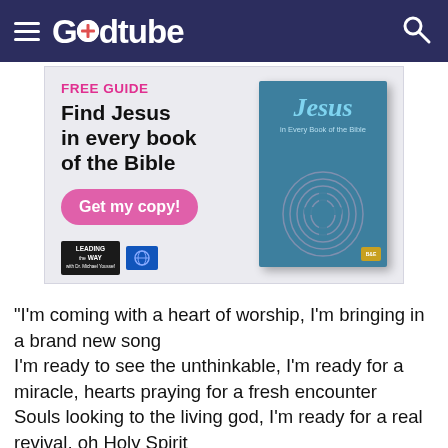Godtube
[Figure (screenshot): Advertisement banner for a free guide book: 'Find Jesus in every book of the Bible' with a 'Get my copy!' button, showing a teal book cover with 'Jesus in Every Book of the Bible' and a fingerprint/cross design. Logos for Leading the Way and a world radio network appear at the bottom.]
“I’m coming with a heart of worship, I’m bringing in a brand new song
I’m ready to see the unthinkable, I’m ready for a miracle, hearts praying for a fresh encounter
Souls looking to the living god, I’m ready for a real revival, oh Holy Spirit